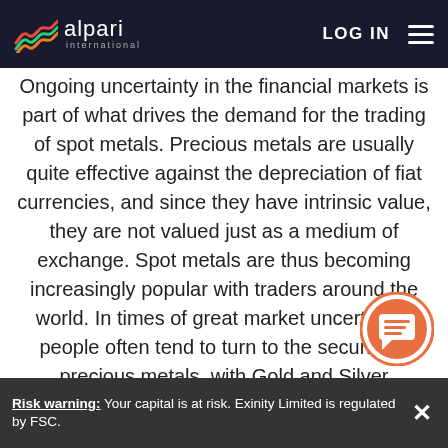Alpari International — LOG IN
Ongoing uncertainty in the financial markets is part of what drives the demand for the trading of spot metals. Precious metals are usually quite effective against the depreciation of fiat currencies, and since they have intrinsic value, they are not valued just as a medium of exchange. Spot metals are thus becoming increasingly popular with traders around the world. In times of great market uncertainty, people often tend to turn to the security of precious metals, with Gold and Silver perceived to be an excellent inflation hedge. Like all other instruments in the financial markets, political and economic events can significantly influence the fluctuate
Risk warning: Your capital is at risk. Exinity Limited is regulated by FSC.